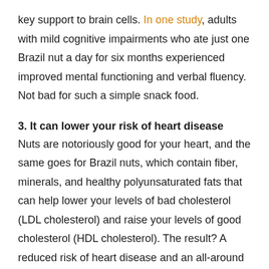key support to brain cells. In one study, adults with mild cognitive impairments who ate just one Brazil nut a day for six months experienced improved mental functioning and verbal fluency. Not bad for such a simple snack food.
3. It can lower your risk of heart disease
Nuts are notoriously good for your heart, and the same goes for Brazil nuts, which contain fiber, minerals, and healthy polyunsaturated fats that can help lower your levels of bad cholesterol (LDL cholesterol) and raise your levels of good cholesterol (HDL cholesterol). The result? A reduced risk of heart disease and an all-around healthier heart.